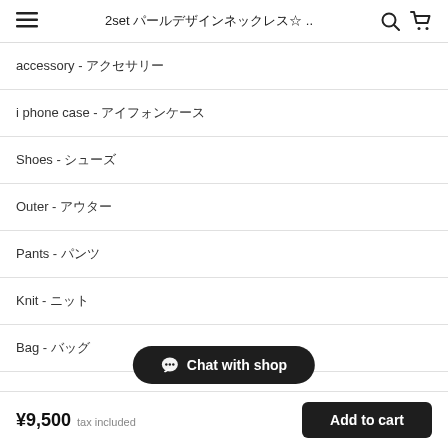2set パールデザインネックレス☆ ..
accessory - アクセサリー
i phone case - アイフォンケース
Shoes - シューズ
Outer - アウター
Pants - パンツ
Knit - ニット
Bag - バッグ
Chat with shop
¥9,500 tax included
Add to cart